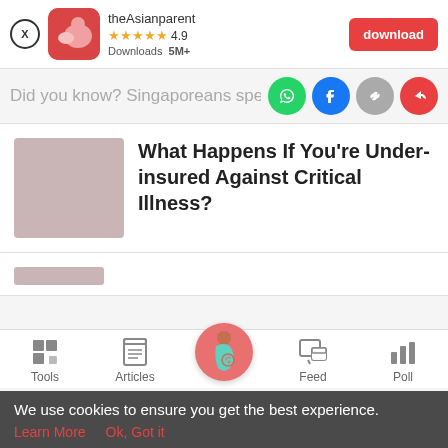[Figure (screenshot): App download banner for theAsianparent app with close button, app icon, name, 4.9 stars rating, 5M+ downloads, and red download button]
Did you know? Singaporeans spend...
[Figure (infographic): Social share icons: WhatsApp (green), Facebook (blue), link (grey), share (red)]
[Figure (illustration): Thumbnail placeholder for article about critical illness insurance]
What Happens If You're Under-insured Against Critical Illness?
[Figure (screenshot): Bottom navigation bar with Tools, Articles, home (pregnant woman icon), Feed, Poll icons]
We use cookies to ensure you get the best experience.
Learn More   Ok, Got it